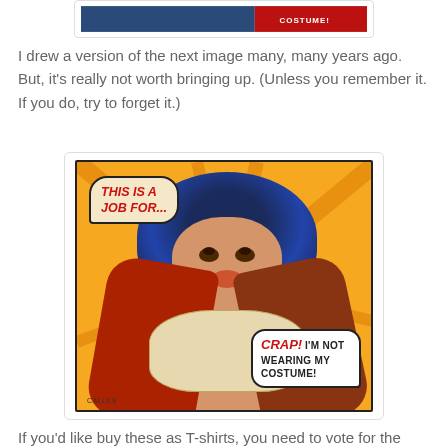[Figure (illustration): Top portion of a comic-style image showing a superhero figure, partially cropped at the top of the page]
I drew a version of the next image many, many years ago. But, it's really not worth bringing up. (Unless you remember it. If you do, try to forget it.)
[Figure (illustration): Comic book style illustration of a dark-haired woman in a red coat opening her shirt to reveal a bra. Speech bubble top-left reads 'THIS IS A JOB FOR...' and speech bubble bottom-right reads 'CRAP! I'M NOT WEARING MY COSTUME!' Artist credit: CALLES at bottom left.]
If you'd like buy these as T-shirts, you need to vote for the